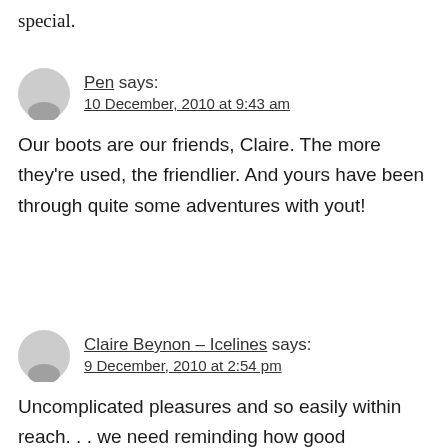special.
Pen says:
10 December, 2010 at 9:43 am
Our boots are our friends, Claire. The more they're used, the friendlier. And yours have been through quite some adventures with yout!
Claire Beynon – Icelines says:
9 December, 2010 at 2:54 pm
Uncomplicated pleasures and so easily within reach. . . we need reminding how good adventures such as these are for us. Thanks for the nudge, Pen. My boots are